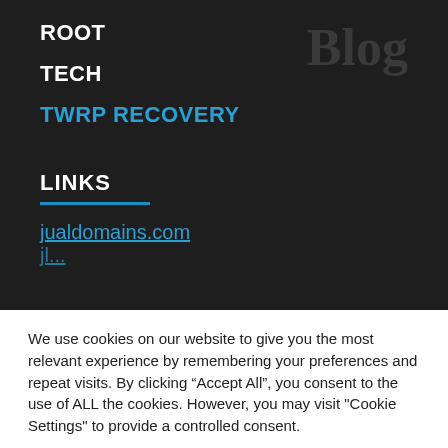ROOT
TECH
TWRP RECOVERY
LINKS
jualdomains.com
We use cookies on our website to give you the most relevant experience by remembering your preferences and repeat visits. By clicking “Accept All”, you consent to the use of ALL the cookies. However, you may visit "Cookie Settings" to provide a controlled consent.
Cookie Settings
Accept All